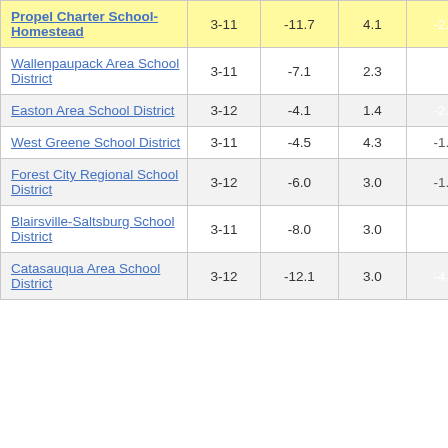| School/District | Grades | Col3 | Col4 | Score |  |
| --- | --- | --- | --- | --- | --- |
| Propel Charter School-Homestead | 3-11 | -11.7 | 4.1 | -2.84 |  |
| Wallenpaupack Area School District | 3-11 | -7.1 | 2.3 | -3.09 |  |
| Easton Area School District | 3-12 | -4.1 | 1.4 | -2.91 |  |
| West Greene School District | 3-11 | -4.5 | 4.3 | -1.04 |  |
| Forest City Regional School District | 3-12 | -6.0 | 3.0 | -1.96 |  |
| Blairsville-Saltsburg School District | 3-11 | -8.0 | 3.0 | -2.68 |  |
| Catasauqua Area School District | 3-12 | -12.1 | 3.0 | -4.00 |  |